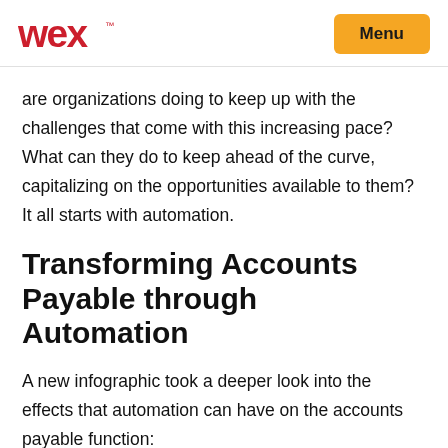WEX | Menu
are organizations doing to keep up with the challenges that come with this increasing pace? What can they do to keep ahead of the curve, capitalizing on the opportunities available to them? It all starts with automation.
Transforming Accounts Payable through Automation
A new infographic took a deeper look into the effects that automation can have on the accounts payable function: